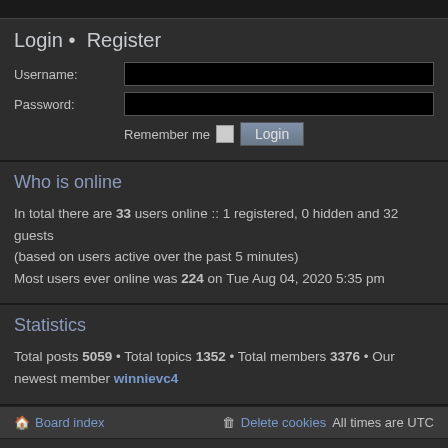Login • Register
Username:
Password:
Remember me  [checkbox]  Login
Who is online
In total there are 33 users online :: 1 registered, 0 hidden and 32 guests (based on users active over the past 5 minutes)
Most users ever online was 224 on Tue Aug 04, 2020 5:35 pm
Statistics
Total posts 5059 • Total topics 1352 • Total members 3376 • Our newest member winnievc4
Board index   Delete cookies   All times are UTC
Powered by phpBB® Forum Software © phpBB Limited
Style by Arty - phpBB 3.2 by MrGaby
Privacy | Terms